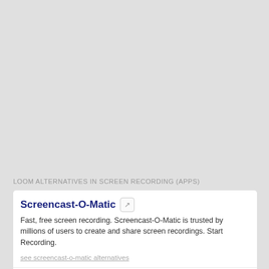LOOM ALTERNATIVES IN SCREEN RECORDING (APPS)
Screencast-O-Matic
Fast, free screen recording. Screencast-O-Matic is trusted by millions of users to create and share screen recordings. Start Recording.
see screencast-o-matic alternatives
Techsmith
Get the ultimate screen capture and video recording on Windows and Mac.
see techsmith alternatives
Techsmith
Camtasia is the best all-in-one screen recorder and video editor. Record your screen, add video effects, transitions and more.
see techsmith alternatives
Bandicam